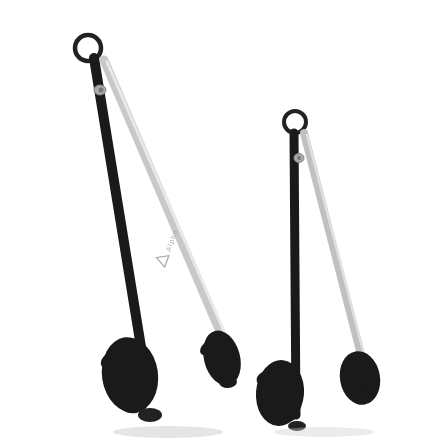[Figure (photo): Two stainless steel kitchen tongs with black silicone gripping heads and black rubber ring handles at the top. The larger tong on the left is longer and angled diagonally. The smaller tong on the right is shorter. Both have scalloped black silicone tips and a locking ring mechanism at the top. The background is white.]